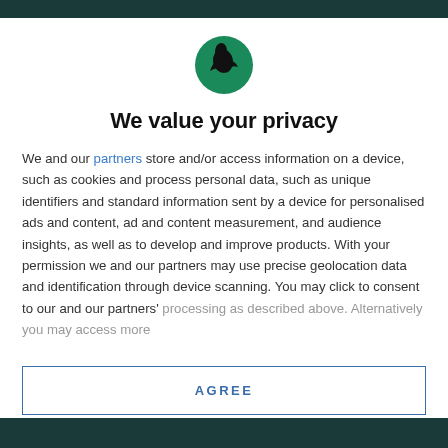[Figure (logo): Circular green badge with a black bird/raven silhouette logo]
We value your privacy
We and our partners store and/or access information on a device, such as cookies and process personal data, such as unique identifiers and standard information sent by a device for personalised ads and content, ad and content measurement, and audience insights, as well as to develop and improve products. With your permission we and our partners may use precise geolocation data and identification through device scanning. You may click to consent to our and our partners' processing as described above. Alternatively you may access more
AGREE
MORE OPTIONS